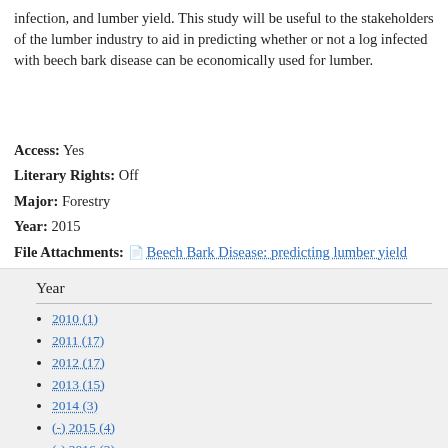infection, and lumber yield. This study will be useful to the stakeholders of the lumber industry to aid in predicting whether or not a log infected with beech bark disease can be economically used for lumber.
Access: Yes
Literary Rights: Off
Major: Forestry
Year: 2015
File Attachments: Beech Bark Disease: predicting lumber yield
Authors: Alex Cote, Zachary Smith
Year
2010 (1)
2011 (17)
2012 (17)
2013 (15)
2014 (3)
(-) 2015 (4)
(-) 2016 (2)
2017 (8)
2018 (7)
2020 (2)
2021 (11)